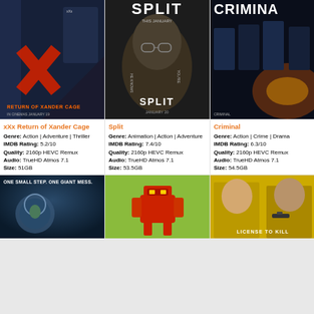[Figure (photo): Movie poster for xXx Return of Xander Cage]
xXx Return of Xander Cage
Genre: Action | Adventure | Thriller
IMDB Rating: 5.2/10
Quality: 2160p HEVC Remux
Audio: TrueHD Atmos 7.1
Size: 51GB
[Figure (photo): Movie poster for Split]
Split
Genre: Animation | Action | Adventure
IMDB Rating: 7.4/10
Quality: 2160p HEVC Remux
Audio: TrueHD Atmos 7.1
Size: 53.5GB
[Figure (photo): Movie poster for Criminal]
Criminal
Genre: Action | Crime | Drama
IMDB Rating: 6.3/10
Quality: 2160p HEVC Remux
Audio: TrueHD Atmos 7.1
Size: 54.5GB
[Figure (photo): Movie poster - One Small Step One Giant Mess animated film]
[Figure (photo): Movie poster with red robot character]
[Figure (photo): Movie poster for License to Kill]